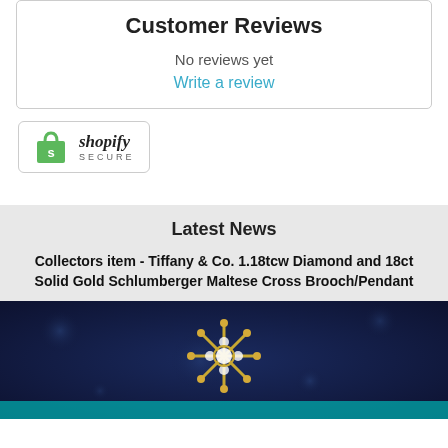Customer Reviews
No reviews yet
Write a review
[Figure (logo): Shopify Secure badge with green shopping bag icon and 'shopify SECURE' text]
Latest News
Collectors item - Tiffany & Co. 1.18tcw Diamond and 18ct Solid Gold Schlumberger Maltese Cross Brooch/Pendant
[Figure (photo): Gold Tiffany & Co. Schlumberger Maltese Cross Brooch/Pendant with diamonds on a blue velvet background]